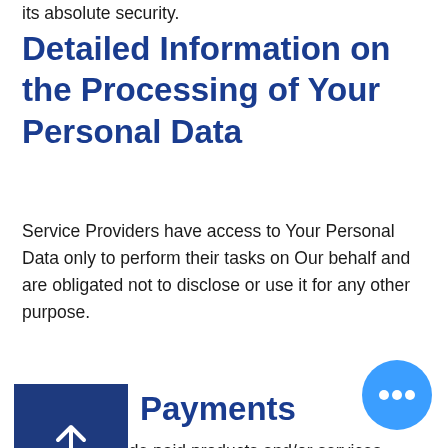its absolute security.
Detailed Information on the Processing of Your Personal Data
Service Providers have access to Your Personal Data only to perform their tasks on Our behalf and are obligated not to disclose or use it for any other purpose.
Payments
We may provide paid products and/or services within the Ubix Service. In that case, we may use third-party services for payment processing (e.g. payment processors).